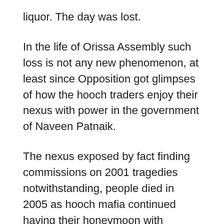liquor. The day was lost.
In the life of Orissa Assembly such loss is not any new phenomenon, at least since Opposition got glimpses of how the hooch traders enjoy their nexus with power in the government of Naveen Patnaik.
The nexus exposed by fact finding commissions on 2001 tragedies notwithstanding, people died in 2005 as hooch mafia continued having their honeymoon with ministers. Opposition had to stonewall the Assembly proceedings completely for days together to press for removal of the protectors of the hooch operators from the